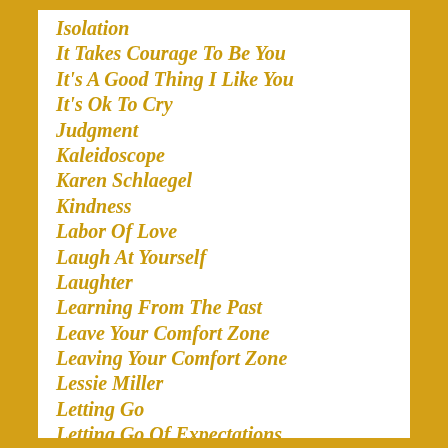Isolation
It Takes Courage To Be You
It's A Good Thing I Like You
It's Ok To Cry
Judgment
Kaleidoscope
Karen Schlaegel
Kindness
Labor Of Love
Laugh At Yourself
Laughter
Learning From The Past
Leave Your Comfort Zone
Leaving Your Comfort Zone
Lessie Miller
Letting Go
Letting Go Of Expectations
Letting Go Of The Past